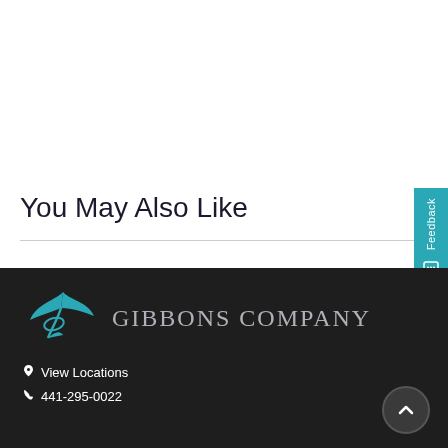[Figure (logo): Gibbons Company logo with stylized bird/fish icon and company name in serif font, dark navy text on white background]
You May Also Like
[Figure (logo): Gibbons Company logo in teal/turquoise color on dark background in footer]
View Locations
441-295-0022